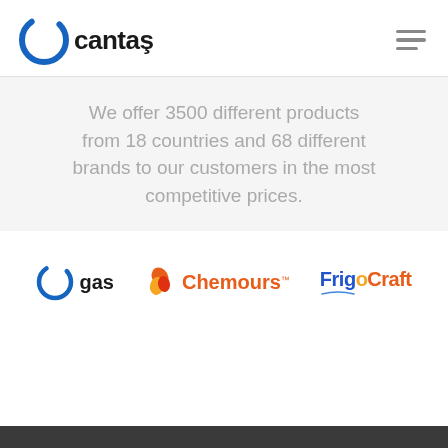[Figure (logo): Cantaş company logo with blue circular C icon and bold text 'cantaş', plus hamburger menu icon on right]
We offer 3500 different products from 18 countries and 68 different brands to our customers in the most competitive prices.
[Figure (logo): Three brand logos: Cantas Gas (blue C icon + 'gas' text), Chemours (red/orange diamond icon + 'Chemours' text with TM), FrigoCraft (blue/orange bold text logo)]